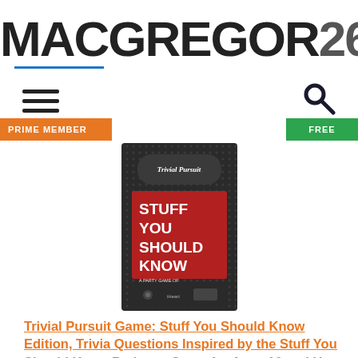MACGREGOR26
[Figure (logo): MACGREGOR26 logo in large bold black text with blue underline accent]
[Figure (photo): Trivial Pursuit Game: Stuff You Should Know Edition box — dark box with red label showing 'STUFF YOU SHOULD KNOW' text]
Trivial Pursuit Game: Stuff You Should Know Edition, Trivia Questions Inspired by the Stuff You Should Know Podcast, Game for Ages 16 and Up